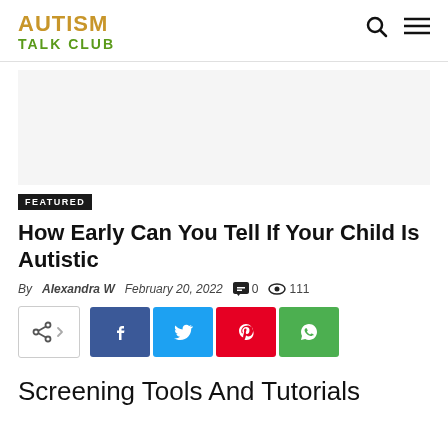AUTISM TALK CLUB
[Figure (other): Advertisement or blank area placeholder]
FEATURED
How Early Can You Tell If Your Child Is Autistic
By Alexandra W  February 20, 2022  0  111
[Figure (infographic): Social share buttons: share icon, Facebook, Twitter, Pinterest, WhatsApp]
Screening Tools And Tutorials